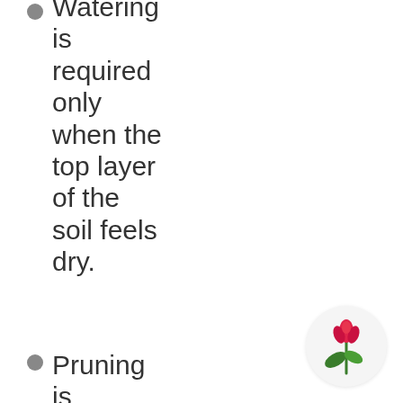Watering is required only when the top layer of the soil feels dry.
Pruning is required to have a bushy and healthy jade plant
The image is indicative in nature. As plants are
[Figure (logo): A tulip/plant logo icon inside a white circle — a red flower with green leaf and stem.]